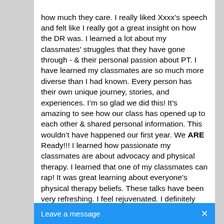how much they care. I really liked Xxxx's speech and felt like I really got a great insight on how the DR was. I learned a lot about my classmates' struggles that they have gone through - & their personal passion about PT. I have learned my classmates are so much more diverse than I had known. Every person has their own unique journey, stories, and experiences. I'm so glad we did this! It's amazing to see how our class has opened up to each other & shared personal information. This wouldn't have happened our first year. We ARE Ready!!! I learned how passionate my classmates are about advocacy and physical therapy. I learned that one of my classmates can rap! It was great learning about everyone's physical therapy beliefs. These talks have been very refreshing. I feel rejuvenated. I definitely think this is something the program can continue on with and expand on in the future. It's nothing other programs and students do to look in on. I think it would be a positive experience for everyone. As I learned from my